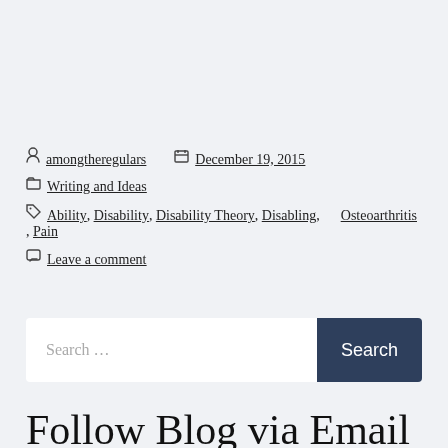amongtheregulars  December 19, 2015
Writing and Ideas
Ability, Disability, Disability Theory, Disabling, Osteoarthritis, Pain
Leave a comment
Search ...
Follow Blog via Email